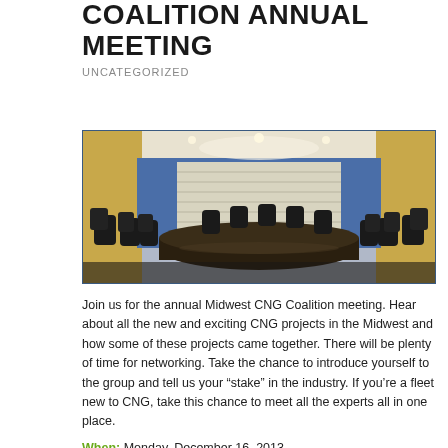COALITION ANNUAL MEETING
UNCATEGORIZED
[Figure (photo): Conference room with a long dark table surrounded by black leather chairs, blue walls, and windows with blinds in the background.]
Join us for the annual Midwest CNG Coalition meeting. Hear about all the new and exciting CNG projects in the Midwest and how some of these projects came together. There will be plenty of time for networking. Take the chance to introduce yourself to the group and tell us your “stake” in the industry. If you’re a fleet new to CNG, take this chance to meet all the experts all in one place.
When: Monday, December 16, 2013
Where: Missouri Gas Energy Offices
3420 Broadway